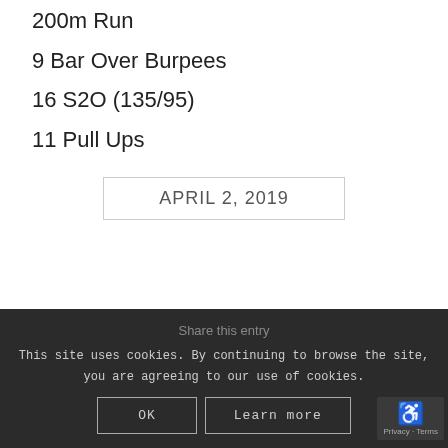200m Run
9 Bar Over Burpees
16 S2O (135/95)
11 Pull Ups
APRIL 2, 2019
Share this entry
This site uses cookies. By continuing to browse the site, you are agreeing to our use of cookies.
OK  Learn more